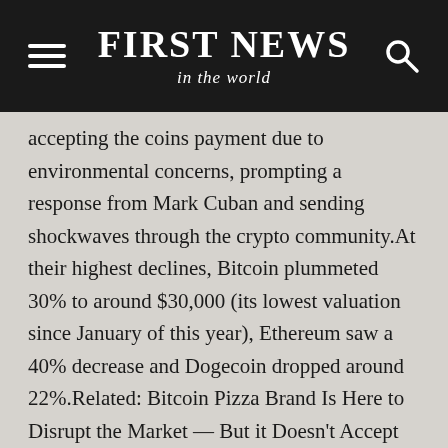FIRST NEWS in the world
accepting the coins payment due to environmental concerns, prompting a response from Mark Cuban and sending shockwaves through the crypto community.At their highest declines, Bitcoin plummeted 30% to around $30,000 (its lowest valuation since January of this year), Ethereum saw a 40% decrease and Dogecoin dropped around 22%.Related: Bitcoin Pizza Brand Is Here to Disrupt the Market — But it Doesn't Accept BitcoinThe currencies have since rebounded and slightly recovered but are still significantly down as the fear of regulations and pullback of support for the currencies looms.In order to capitalize on the crypto crash and panic, popular trading company Robinhood is hoping to entice traders to stay active by offering stock